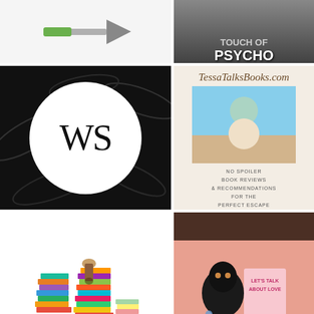[Figure (illustration): Green and grey arrow pointing right on white background]
[Figure (photo): Dark background with text 'Touch of PSYCHO' in bold white letters]
[Figure (logo): Black background with leaf pattern, white circle containing letters WS in serif font]
[Figure (illustration): TessaTalksBooks.com card: tan background, italic brown site title, beach photo with woman in hat reading, tagline 'NO SPOILER BOOK REVIEWS & RECOMMENDATIONS FOR THE PERFECT ESCAPE']
[Figure (illustration): Colorful illustrated stacks of books with a figure holding them]
[Figure (photo): Photo of Funko Pop doll and book 'Let's Talk About Love' on pink background]
Advertisements
[Figure (other): Advertisement: Content Analytics Made Easy - Get A Demo button - Parse.ly logo]